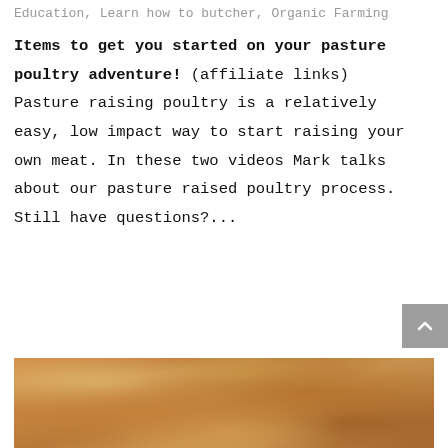Education, Learn how to butcher, Organic Farming
Items to get you started on your pasture poultry adventure! (affiliate links) Pasture raising poultry is a relatively easy, low impact way to start raising your own meat. In these two videos Mark talks about our pasture raised poultry process. Still have questions?...
[Figure (photo): Close-up photo of a plate of breaded and fried poultry pieces, golden-brown and crispy, on a white plate with a wooden surface visible in the background.]